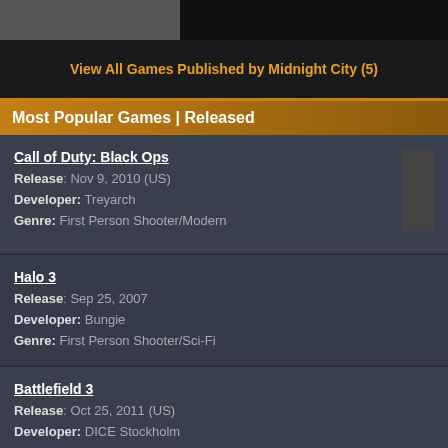View All Games Published by Midnight City (5)
Most Popular Games | Released
Call of Duty: Black Ops
Release: Nov 9, 2010 (US)
Developer: Treyarch
Genre: First Person Shooter/Modern
Halo 3
Release: Sep 25, 2007
Developer: Bungie
Genre: First Person Shooter/Sci-Fi
Battlefield 3
Release: Oct 25, 2011 (US)
Developer: DICE Stockholm
Genre: First Person Shooter/Modern
Call of Duty: Modern Warfare 2
Release: Nov 10, 2009 (US)